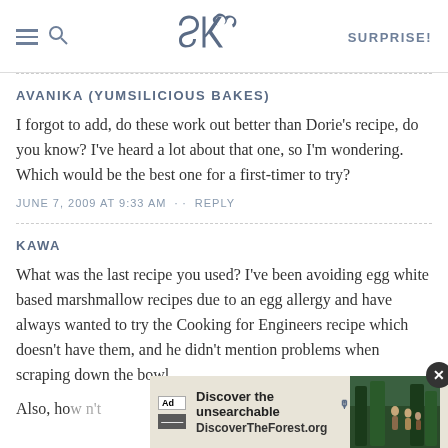SK SURPRISE!
AVANIKA (YUMSILICIOUS BAKES)
I forgot to add, do these work out better than Dorie's recipe, do you know? I've heard a lot about that one, so I'm wondering. Which would be the best one for a first-timer to try?
JUNE 7, 2009 AT 9:33 AM · · REPLY
KAWA
What was the last recipe you used? I've been avoiding egg white based marshmallow recipes due to an egg allergy and have always wanted to try the Cooking for Engineers recipe which doesn't have them, and he didn't mention problems when scraping down the bowl.
Also, ho... n't exactly...
[Figure (screenshot): Advertisement overlay: 'Discover the unsearchable' with DiscoverTheForest.org URL, forest background image with people, close button, and ad icons]